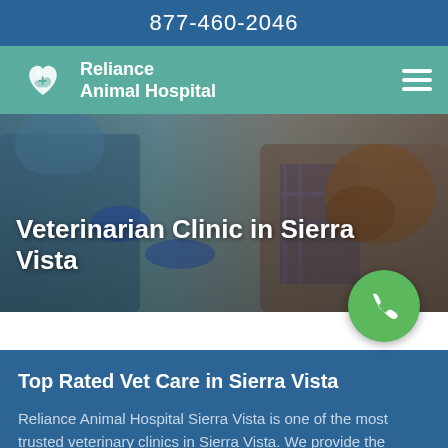877-460-2046
[Figure (logo): Reliance Animal Hospital logo with heart and paw icon]
Veterinarian Clinic in Sierra Vista
[Figure (photo): Veterinarian in blue gloves examining a dog, with a person in plaid shirt assisting]
Top Rated Vet Care in Sierra Vista
Reliance Animal Hospital Sierra Vista is one of the most trusted veterinary clinics in Sierra Vista. We provide the excellent veterinary care that